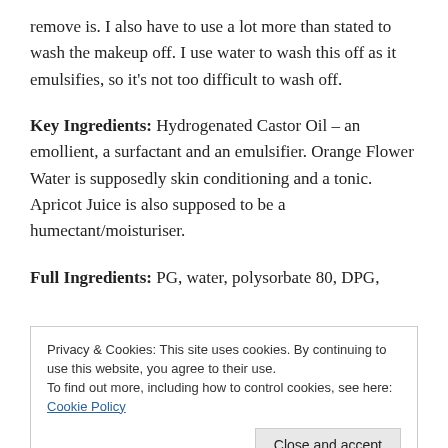remove is. I also have to use a lot more than stated to wash the makeup off. I use water to wash this off as it emulsifies, so it's not too difficult to wash off.
Key Ingredients: Hydrogenated Castor Oil – an emollient, a surfactant and an emulsifier. Orange Flower Water is supposedly skin conditioning and a tonic. Apricot Juice is also supposed to be a humectant/moisturiser.
Full Ingredients: PG, water, polysorbate 80, DPG,
Privacy & Cookies: This site uses cookies. By continuing to use this website, you agree to their use.
To find out more, including how to control cookies, see here: Cookie Policy
Close and accept
paraben.